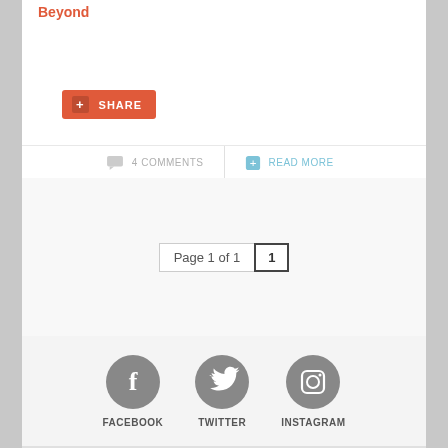Beyond
SHARE
4 COMMENTS
READ MORE
Page 1 of 1  1
[Figure (logo): Facebook grey circle icon with F letter, Twitter grey circle icon with bird, Instagram grey circle icon with camera]
FACEBOOK   TWITTER   INSTAGRAM